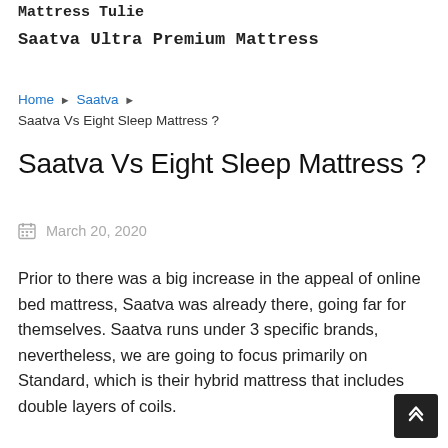Mattress Tulie
Saatva Ultra Premium Mattress
Home ▶ Saatva ▶
Saatva Vs Eight Sleep Mattress ?
Saatva Vs Eight Sleep Mattress ?
March 20, 2020
Prior to there was a big increase in the appeal of online bed mattress, Saatva was already there, going far for themselves. Saatva runs under 3 specific brands, nevertheless, we are going to focus primarily on Standard, which is their hybrid mattress that includes double layers of coils.